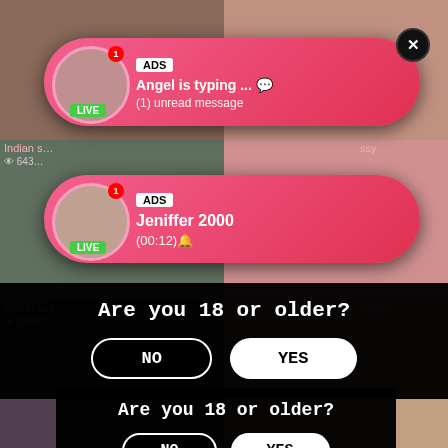[Figure (screenshot): Adult live streaming website grid with multiple video thumbnails in background]
ADS
Angel is typing ... 💬
(1) unread message
ADS
Jeniffer 2000
(00:12)🔔
Are you 18 or older?
NO    YES
Indian sex
👁 338473
Are you 18 or older?
NO    YES